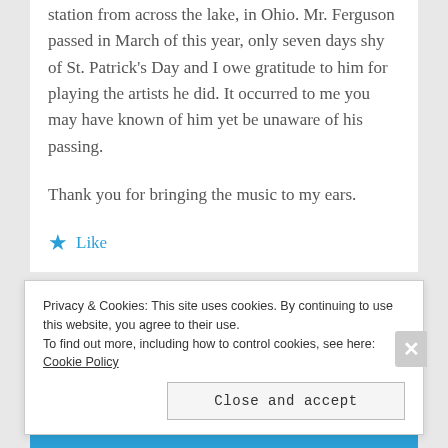station from across the lake, in Ohio. Mr. Ferguson passed in March of this year, only seven days shy of St. Patrick's Day and I owe gratitude to him for playing the artists he did. It occurred to me you may have known of him yet be unaware of his passing.
Thank you for bringing the music to my ears.
★ Like
Privacy & Cookies: This site uses cookies. By continuing to use this website, you agree to their use. To find out more, including how to control cookies, see here: Cookie Policy
Close and accept